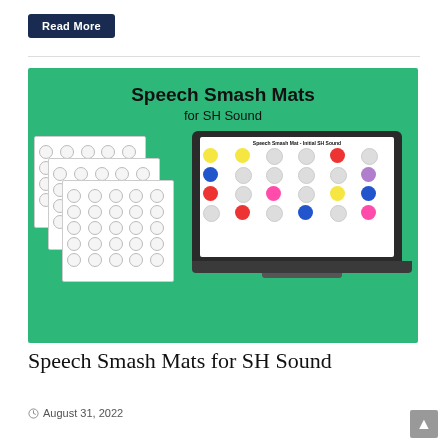Read More
[Figure (illustration): Educational product image on green background showing Speech Smash Mats for SH Sound — stacked printed activity sheets on the left and a laptop displaying the digital version on the right]
Speech Smash Mats for SH Sound
August 31, 2022